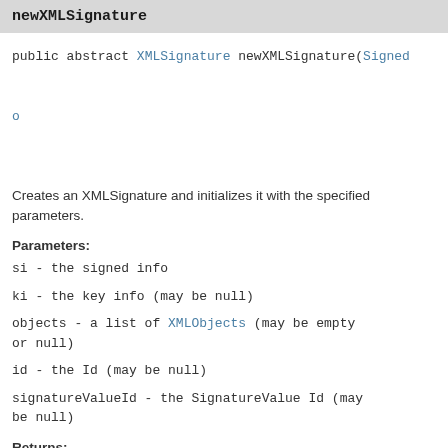newXMLSignature
public abstract XMLSignature newXMLSignature(Signed KeyInf List o String String
Creates an XMLSignature and initializes it with the specified parameters.
Parameters:
si - the signed info
ki - the key info (may be null)
objects - a list of XMLObjects (may be empty or null)
id - the Id (may be null)
signatureValueId - the SignatureValue Id (may be null)
Returns: